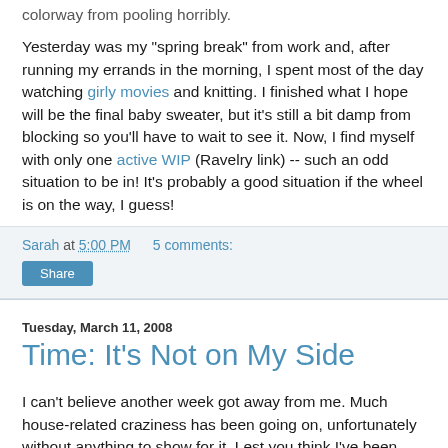colorway from pooling horribly.
Yesterday was my "spring break" from work and, after running my errands in the morning, I spent most of the day watching girly movies and knitting. I finished what I hope will be the final baby sweater, but it's still a bit damp from blocking so you'll have to wait to see it. Now, I find myself with only one active WIP (Ravelry link) -- such an odd situation to be in! It's probably a good situation if the wheel is on the way, I guess!
Sarah at 5:00 PM   5 comments:
Share
Tuesday, March 11, 2008
Time: It's Not on My Side
I can't believe another week got away from me. Much house-related craziness has been going on, unfortunately without anything to show for it. Lest you think I've been spending all